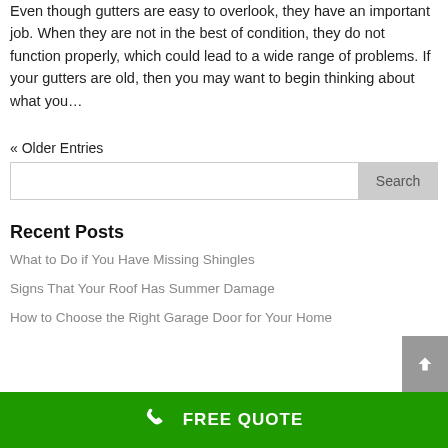Even though gutters are easy to overlook, they have an important job. When they are not in the best of condition, they do not function properly, which could lead to a wide range of problems. If your gutters are old, then you may want to begin thinking about what you…
« Older Entries
Search
Recent Posts
What to Do if You Have Missing Shingles
Signs That Your Roof Has Summer Damage
How to Choose the Right Garage Door for Your Home
FREE QUOTE